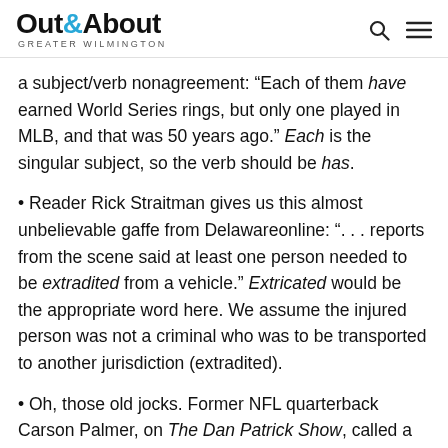Out&About Greater Wilmington
a subject/verb nonagreement: “Each of them have earned World Series rings, but only one played in MLB, and that was 50 years ago.” Each is the singular subject, so the verb should be has.
• Reader Rick Straitman gives us this almost unbelievable gaffe from Delawareonline: “. . . reports from the scene said at least one person needed to be extradited from a vehicle.” Extricated would be the appropriate word here. We assume the injured person was not a criminal who was to be transported to another jurisdiction (extradited).
• Oh, those old jocks. Former NFL quarterback Carson Palmer, on The Dan Patrick Show, called a current